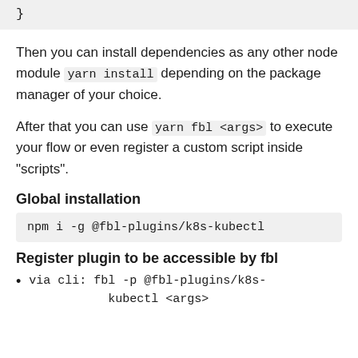}
Then you can install dependencies as any other node module yarn install depending on the package manager of your choice.
After that you can use yarn fbl <args> to execute your flow or even register a custom script inside "scripts".
Global installation
npm i -g @fbl-plugins/k8s-kubectl
Register plugin to be accessible by fbl
via cli: fbl -p @fbl-plugins/k8s-kubectl <args>